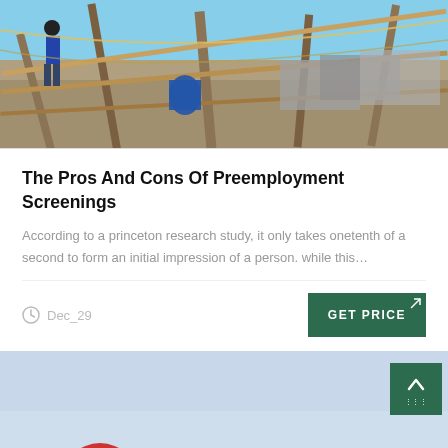[Figure (photo): Construction site with scaffolding, workers, and building materials under blue sky]
The Pros And Cons Of Preemployment Screenings
According to a princeton research study, it only takes onetenth of a second to form an initial impression of a person. while this…
Dec_29
GET PRICE
[Figure (photo): Sky background with partially visible red circular object at bottom, scroll-to-top button overlay]
Leave Message
Chat Online